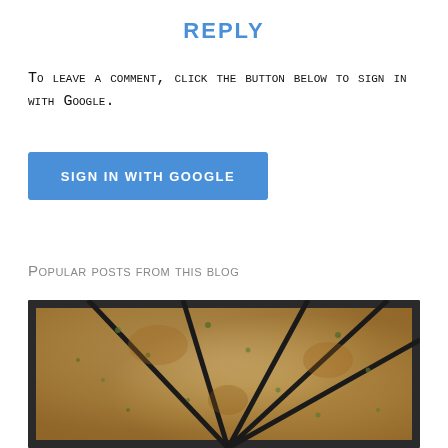REPLY
To leave a comment, click the button below to sign in with Google.
[Figure (screenshot): Blue 'SIGN IN WITH GOOGLE' button]
Popular posts from this blog
[Figure (photo): Photo of flatbread or pizza cut into triangular slices on a dark baking tray, viewed from above]